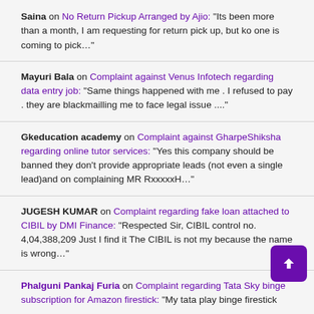Saina on No Return Pickup Arranged by Ajio: "Its been more than a month, I am requesting for return pick up, but ko one is coming to pick..."
Mayuri Bala on Complaint against Venus Infotech regarding data entry job: "Same things happened with me . I refused to pay . they are blackmailling me to face legal issue ...."
Gkeducation academy on Complaint against GharpeShiksha regarding online tutor services: "Yes this company should be banned they don’t provide appropriate leads (not even a single lead)and on complaining MR RxxxxxH..."
JUGESH KUMAR on Complaint regarding fake loan attached to CIBIL by DMI Finance: "Respected Sir, CIBIL control no. 4,04,388,209 Just I find it The CIBIL is not my because the name is wrong..."
Phalguni Pankaj Furia on Complaint regarding Tata Sky binge subscription for Amazon firestick: "My tata play binge firestick